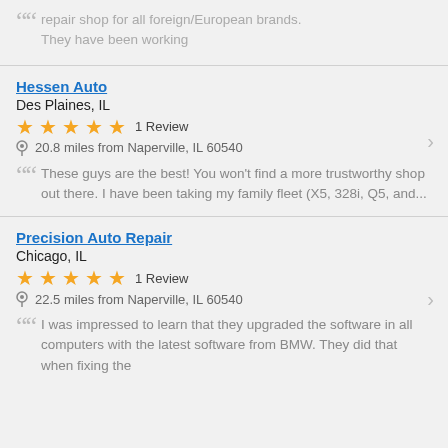repair shop for all foreign/European brands. They have been working
Hessen Auto
Des Plaines, IL
★★★★★ 1 Review
20.8 miles from Naperville, IL 60540
These guys are the best! You won't find a more trustworthy shop out there. I have been taking my family fleet (X5, 328i, Q5, and...
Precision Auto Repair
Chicago, IL
★★★★★ 1 Review
22.5 miles from Naperville, IL 60540
I was impressed to learn that they upgraded the software in all computers with the latest software from BMW. They did that when fixing the